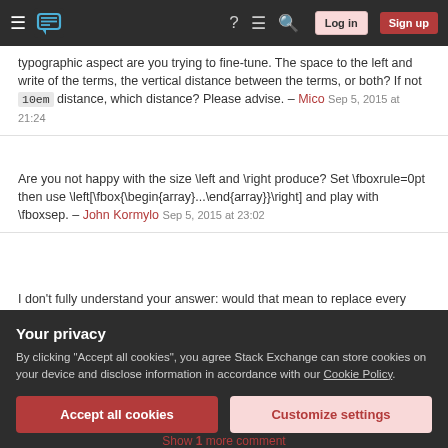Stack Exchange navigation bar with hamburger menu, logo, help, chat, search icons, Log in and Sign up buttons
typographic aspect are you trying to fine-tune. The space to the left and write of the terms, the vertical distance between the terms, or both? If not 10em distance, which distance? Please advise. – Mico Sep 5, 2015 at 21:24
Are you not happy with the size \left and \right produce? Set \fboxrule=0pt then use \left[\fbox{\begin{array}...\end{array}}\right] and play with \fboxsep. – John Kormylo Sep 5, 2015 at 23:02
I don't fully understand your answer: would that mean to replace every bmatrix with \left[\fbox{\begin{array}.. ? Then I'd loose all the neat properties of the bmatrix. And not the vertical problem is till there?l...
Your privacy
By clicking "Accept all cookies", you agree Stack Exchange can store cookies on your device and disclose information in accordance with our Cookie Policy.
Accept all cookies  Customize settings
Show 1 more comment